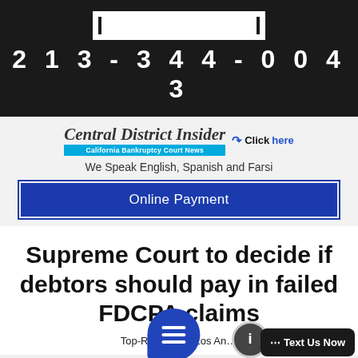[Figure (logo): White rectangular logo placeholder with dark borders on left and right]
213-344-0043
[Figure (logo): Central District Insider - California Bankruptcy Court News logo with Click here link]
We Speak English, Spanish and Farsi
Online Payment
Supreme Court to decide if debtors should pay in failed FDCPA claims
Top-Rated At... Los An...
[Figure (illustration): Chat bubble icon and Text Us Now badge overlay elements]